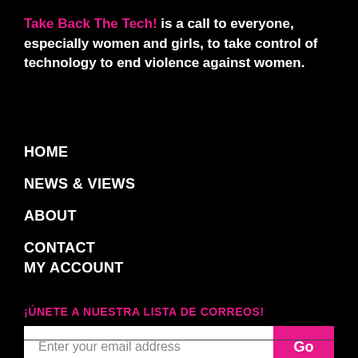Take Back The Tech! is a call to everyone, especially women and girls, to take control of technology to end violence against women.
HOME
NEWS & VIEWS
ABOUT
CONTACT
MY ACCOUNT
¡ÚNETE A NUESTRA LISTA DE CORREOS!
Enter your email address | Go